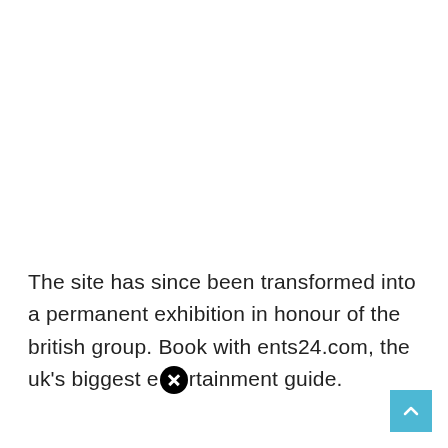The site has since been transformed into a permanent exhibition in honour of the british group. Book with ents24.com, the uk's biggest entertainment guide.